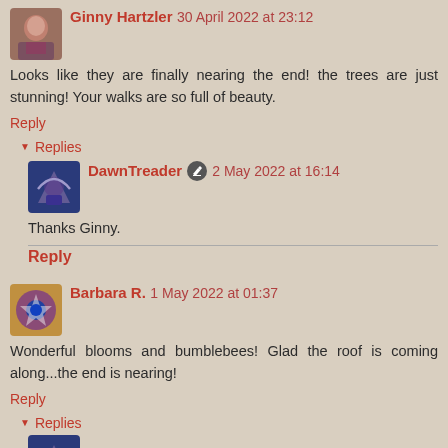Ginny Hartzler 30 April 2022 at 23:12
Looks like they are finally nearing the end! the trees are just stunning! Your walks are so full of beauty.
Reply
Replies
DawnTreader 2 May 2022 at 16:14
Thanks Ginny.
Reply
Barbara R. 1 May 2022 at 01:37
Wonderful blooms and bumblebees! Glad the roof is coming along...the end is nearing!
Reply
Replies
DawnTreader